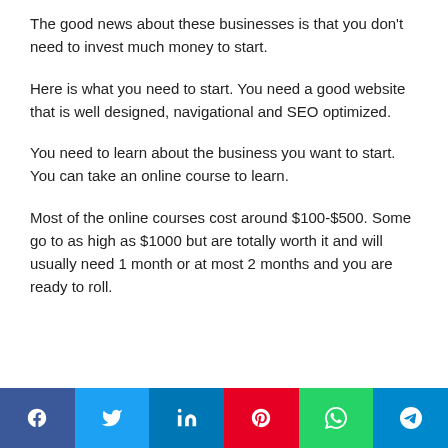The good news about these businesses is that you don't need to invest much money to start.
Here is what you need to start. You need a good website that is well designed, navigational and SEO optimized.
You need to learn about the business you want to start. You can take an online course to learn.
Most of the online courses cost around $100-$500. Some go to as high as $1000 but are totally worth it and will usually need 1 month or at most 2 months and you are ready to roll.
Social share bar: Facebook, Twitter, LinkedIn, Pinterest, WhatsApp, Telegram